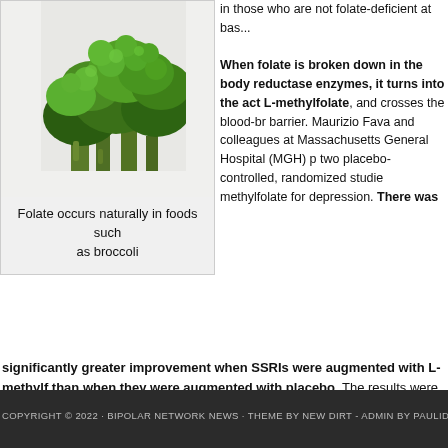[Figure (photo): Photo of broccoli, a dark green vegetable, on a white background]
Folate occurs naturally in foods such as broccoli
in those who are not folate-deficient at bas...
When folate is broken down in the body reductase enzymes, it turns into the act L-methylfolate, and crosses the blood-br barrier. Maurizio Fava and colleagues at Massachusetts General Hospital (MGH) p two placebo-controlled, randomized studie methylfolate for depression. There was significantly greater improvement when SSRIs were augmented with L-methylf than when they were augmented with placebo. The results were significant with th 15mg of L-methylfolate, but not with 7.5mg, suggesting dose-related effects. Read m
Tags: <depression, folate, L-methylfolate, SSRIs>
COPYRIGHT © 2022 · BIPOLAR NETWORK NEWS · THEME BY NEW DIRT - ADMIN BY PAULIDIN